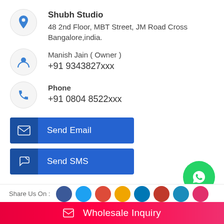Shubh Studio
48 2nd Floor, MBT Street, JM Road Cross Bangalore,india.
Manish Jain ( Owner )
+91 9343827xxx
Phone
+91 0804 8522xxx
[Figure (other): Send Email button with envelope icon]
[Figure (other): Send SMS button with share icon]
[Figure (other): WhatsApp floating action button (green circle with WhatsApp logo)]
Share Us On :
Wholesale Inquiry